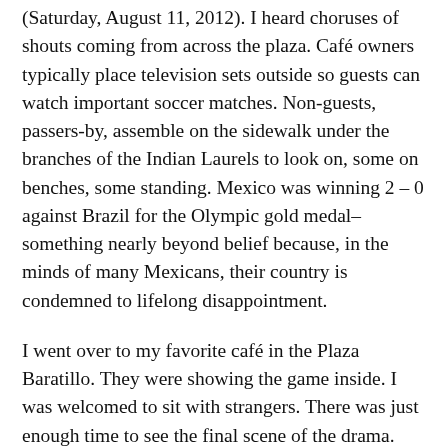(Saturday, August 11, 2012). I heard choruses of shouts coming from across the plaza. Café owners typically place television sets outside so guests can watch important soccer matches. Non-guests, passers-by, assemble on the sidewalk under the branches of the Indian Laurels to look on, some on benches, some standing. Mexico was winning 2 – 0 against Brazil for the Olympic gold medal–something nearly beyond belief because, in the minds of many Mexicans, their country is condemned to lifelong disappointment.
I went over to my favorite café in the Plaza Baratillo. They were showing the game inside. I was welcomed to sit with strangers. There was just enough time to see the final scene of the drama. Mexico was exhausted, Brazil–the soccer giants of South America–was angry.
Mexico had been outplaying them, but now the Brazilians were going to put an end to the farce. They